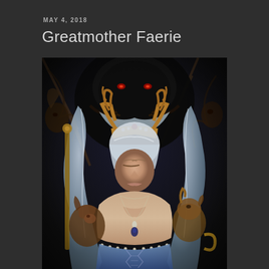MAY 4, 2018
Greatmother Faerie
[Figure (illustration): Fantasy illustration of a serene female figure wearing an antler crown and white/silver draped veil, depicted as a faerie queen or goddess. She is bare-shouldered with a teardrop pendant necklace and blue bodice. Surrounding her are mystical forest creatures including deer, tree spirits, and a large dark figure looming behind with red eyes. The overall palette is dark with earthy tones and cool blues and greys.]